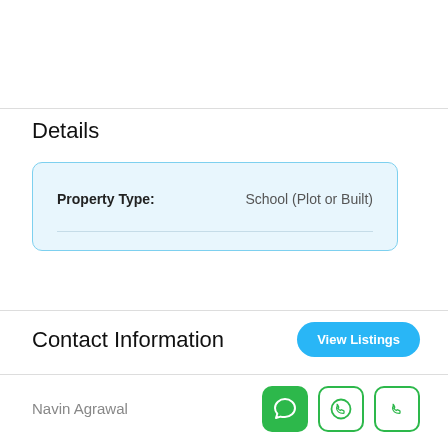Details
| Property Type: | School (Plot or Built) |
| --- | --- |
Contact Information
View Listings
Navin Agrawal